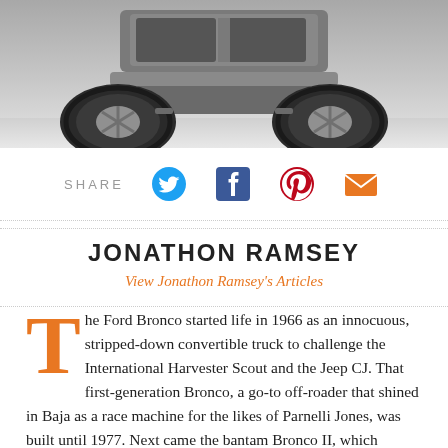[Figure (photo): Bottom portion of a silver/grey off-road vehicle (Ford Bronco concept) showing large all-terrain tires, bumper, and undercarriage against a grey gradient background.]
SHARE
[Figure (illustration): Social share icons: Twitter bird (blue), Facebook F (blue), Pinterest P (red), envelope/email (orange)]
JONATHON RAMSEY
View Jonathon Ramsey's Articles
The Ford Bronco started life in 1966 as an innocuous, stripped-down convertible truck to challenge the International Harvester Scout and the Jeep CJ. That first-generation Bronco, a go-to off-roader that shined in Baja as a race machine for the likes of Parnelli Jones, was built until 1977. Next came the bantam Bronco II, which endured